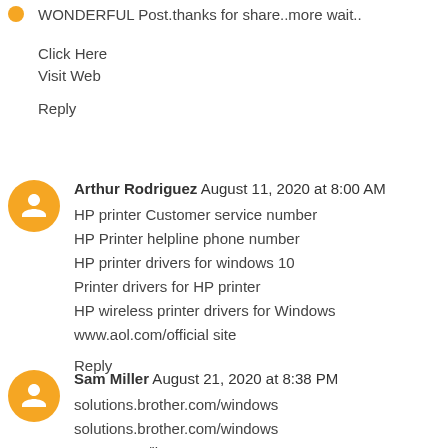WONDERFUL Post.thanks for share..more wait..
Click Here
Visit Web
Reply
Arthur Rodriguez  August 11, 2020 at 8:00 AM
HP printer Customer service number
HP Printer helpline phone number
HP printer drivers for windows 10
Printer drivers for HP printer
HP wireless printer drivers for Windows
www.aol.com/official site
Reply
Sam Miller  August 21, 2020 at 8:38 PM
solutions.brother.com/windows
solutions.brother.com/windows
canon.com/ijsetup